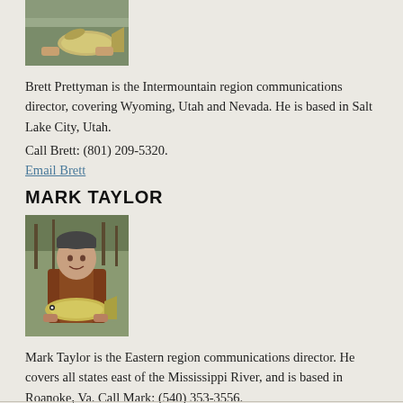[Figure (photo): Photo of Brett Prettyman holding a fish outdoors]
Brett Prettyman is the Intermountain region communications director, covering Wyoming, Utah and Nevada. He is based in Salt Lake City, Utah.
Call Brett: (801) 209-5320.
Email Brett
MARK TAYLOR
[Figure (photo): Photo of Mark Taylor holding a large fish outdoors, wearing a hat and vest]
Mark Taylor is the Eastern region communications director. He covers all states east of the Mississippi River, and is based in Roanoke, Va. Call Mark: (540) 353-3556.
Email Mark